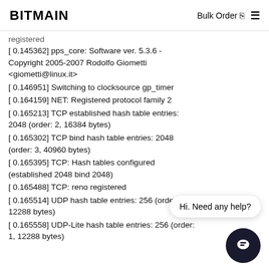BITMAIN  Bulk Order  ≡
registered
[ 0.145362] pps_core: Software ver. 5.3.6 - Copyright 2005-2007 Rodolfo Giometti <giometti@linux.it>
[ 0.146951] Switching to clocksource gp_timer
[ 0.164159] NET: Registered protocol family 2
[ 0.165213] TCP established hash table entries: 2048 (order: 2, 16384 bytes)
[ 0.165302] TCP bind hash table entries: 2048 (order: 3, 40960 bytes)
[ 0.165395] TCP: Hash tables configured (established 2048 bind 2048)
[ 0.165488] TCP: reno registered
[ 0.165514] UDP hash table entries: 256 (order: 1, 12288 bytes)
[ 0.165558] UDP-Lite hash table entries: 256 (order: 1, 12288 bytes)